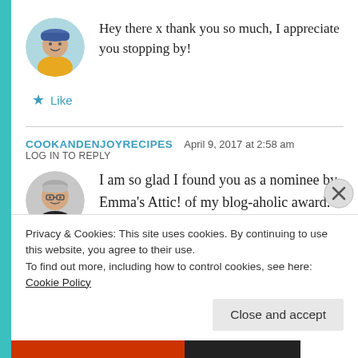Hey there x thank you so much, I appreciate you stopping by!
Like
COOKANDENJOYRECIPES  April 9, 2017 at 2:58 am  LOG IN TO REPLY
I am so glad I found you as a nominee by Emma's Attic! of my blog-aholic award. Hope you enjoy it and will also check out my blog and see what's cooking in our kitchens. As a
Privacy & Cookies: This site uses cookies. By continuing to use this website, you agree to their use.
To find out more, including how to control cookies, see here: Cookie Policy
Close and accept